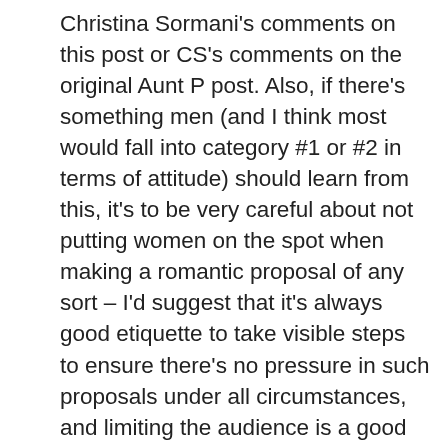Christina Sormani's comments on this post or CS's comments on the original Aunt P post. Also, if there's something men (and I think most would fall into category #1 or #2 in terms of attitude) should learn from this, it's to be very careful about not putting women on the spot when making a romantic proposal of any sort – I'd suggest that it's always good etiquette to take visible steps to ensure there's no pressure in such proposals under all circumstances, and limiting the audience is a good first step. In my mind, overtones of coercion or pressure are where we get into harassment territory. More generally, it seems that considering how your approach may be seen by the person your approaching is likely to be helpful in getting a